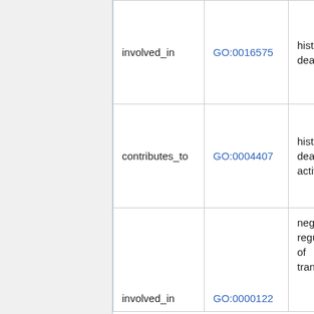| involved_in | GO:0016575 | histone deacetylation |
| contributes_to | GO:0004407 | histone deacetylase activity |
| involved_in | GO:0000122 | negative regulation of transcription |